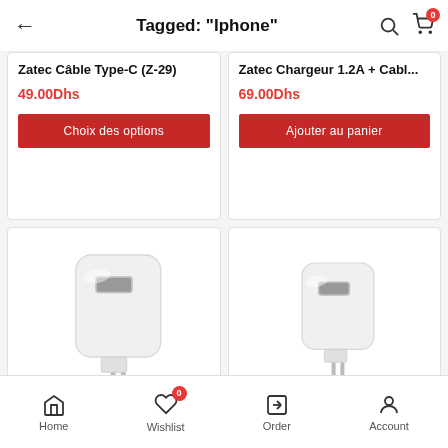Tagged: "Iphone"
Zatec Câble Type-C (Z-29)
49.00Dhs
Choix des options
Zatec Chargeur 1.2A + Cabl...
69.00Dhs
Ajouter au panier
[Figure (photo): White USB wall charger adapter with two pins]
[Figure (photo): White USB wall charger adapter with two pins]
Home  Wishlist 0  Order  Account